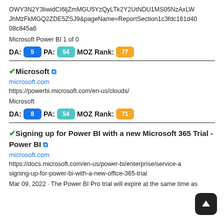OWY3N2Y3liwidCI6ljZmMGU5YzQyLTk2Y2UtNDU1MS05NzAxLWJhMzFkMGQ2ZDE5ZSJ9&pageName=ReportSection1c3fdc161d4008c845a6
Microsoft Power BI 1 of 0
DA: 5 PA: 54 MOZ Rank: 77
Microsoft
microsoft.com
https://powerbi.microsoft.com/en-us/clouds/
Microsoft
DA: 8 PA: 54 MOZ Rank: 71
Signing up for Power BI with a new Microsoft 365 Trial - Power BI
microsoft.com
https://docs.microsoft.com/en-us/power-bi/enterprise/service-a signing-up-for-power-bi-with-a-new-office-365-trial
Mar 09, 2022 · The Power BI Pro trial will expire at the same time as